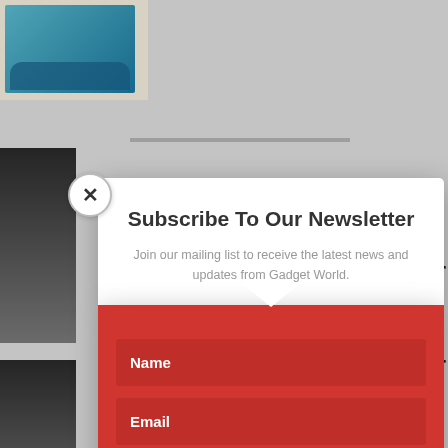[Figure (screenshot): Background webpage with thumbnail images and partial text visible behind a modal popup]
[Figure (illustration): Close button (X) circle in top-left area of modal]
Subscribe To Our Newsletter
Join our mailing list to receive the latest news and updates from Gadget World.
Name
Email
SUBSCRIBE!